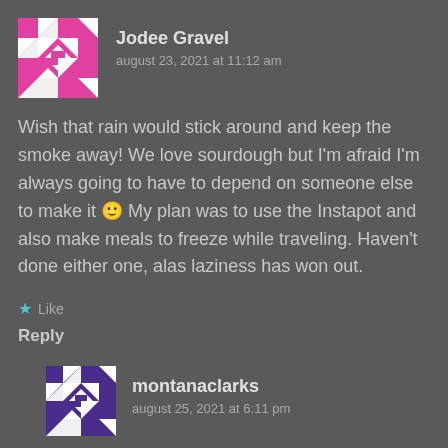[Figure (illustration): Avatar image for Jodee Gravel — pink and white geometric quilt-pattern square avatar]
Jodee Gravel
august 23, 2021 at 11:12 am
Wish that rain would stick around and keep the smoke away! We love sourdough but I'm afraid I'm always going to have to depend on someone else to make it 🙂 My plan was to use the Instapot and also make meals to freeze while traveling. Haven't done either one, alas laziness has won out.
★ Like
Reply
[Figure (illustration): Avatar image for montanaclarks — purple and white geometric quilt-pattern square avatar]
montanaclarks
august 25, 2021 at 6:11 pm